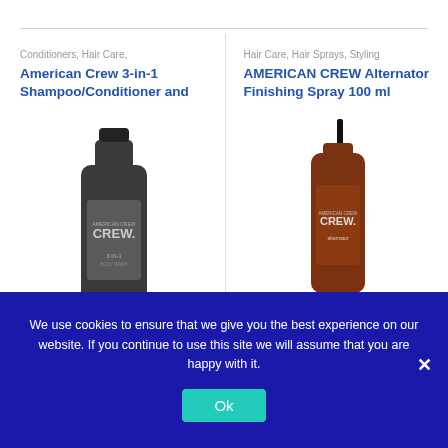Conditioners, Hair Care,
American Crew 3-in-1 Shampoo/Conditioner and
[Figure (photo): American Crew 3-in-1 Shampoo/Conditioner bottle, dark grey/charcoal color with CREW logo]
£11.93
Hair Care, Hair Sprays, Styling
AMERICAN CREW Alternator Finishing Spray 100 ml
[Figure (photo): American Crew Alternator Finishing Spray bottle, amber/brown color with black spray cap and CREW logo]
£8.85
We use cookies to ensure that we give you the best experience on our website. If you continue to use this site we will assume that you are happy with it.